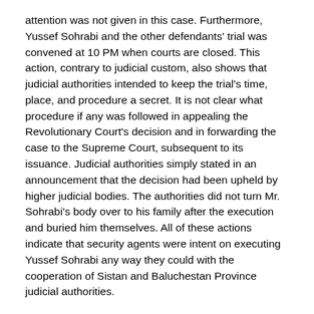attention was not given in this case. Furthermore, Yussef Sohrabi and the other defendants' trial was convened at 10 PM when courts are closed. This action, contrary to judicial custom, also shows that judicial authorities intended to keep the trial's time, place, and procedure a secret. It is not clear what procedure if any was followed in appealing the Revolutionary Court's decision and in forwarding the case to the Supreme Court, subsequent to its issuance. Judicial authorities simply stated in an announcement that the decision had been upheld by higher judicial bodies. The authorities did not turn Mr. Sohrabi's body over to his family after the execution and buried him themselves. All of these actions indicate that security agents were intent on executing Yussef Sohrabi any way they could with the cooperation of Sistan and Baluchestan Province judicial authorities.
Judgment
In late January 2008, the Zahedan Revolutionary Court sentenced Mr. Mohammad Yussef Sohrabi Nekahchi to death.